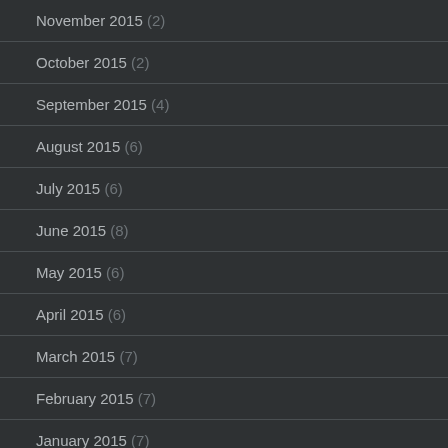November 2015 (2)
October 2015 (2)
September 2015 (4)
August 2015 (6)
July 2015 (6)
June 2015 (8)
May 2015 (6)
April 2015 (6)
March 2015 (7)
February 2015 (7)
January 2015 (7)